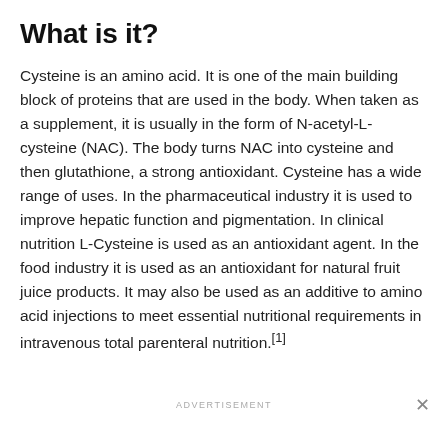What is it?
Cysteine is an amino acid. It is one of the main building block of proteins that are used in the body. When taken as a supplement, it is usually in the form of N-acetyl-L-cysteine (NAC). The body turns NAC into cysteine and then glutathione, a strong antioxidant. Cysteine has a wide range of uses. In the pharmaceutical industry it is used to improve hepatic function and pigmentation. In clinical nutrition L-Cysteine is used as an antioxidant agent. In the food industry it is used as an antioxidant for natural fruit juice products. It may also be used as an additive to amino acid injections to meet essential nutritional requirements in intravenous total parenteral nutrition.[1]
ADVERTISEMENT